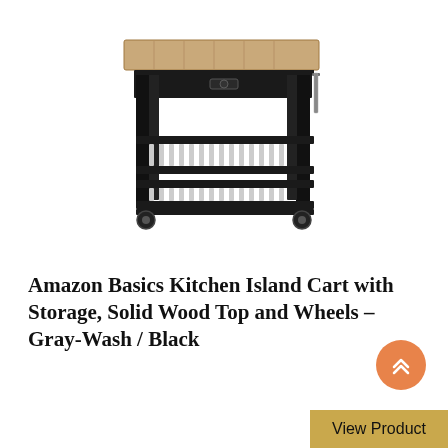[Figure (photo): A black kitchen island cart with a gray-wash solid wood top, one drawer, two slatted lower shelves, and four caster wheels.]
Amazon Basics Kitchen Island Cart with Storage, Solid Wood Top and Wheels – Gray-Wash / Black